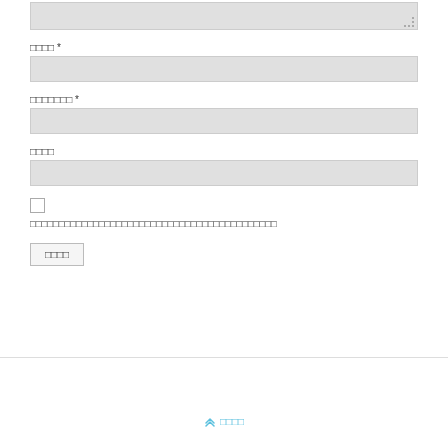[Figure (screenshot): Partial web form showing textarea at top, then labeled input fields for name (required), email address (required), and website (optional), followed by a checkbox with privacy text, a submit button, a horizontal divider, and a back-to-top footer link with chevron icon in Thai/Japanese script]
□□□□ *
□□□□□□□ *
□□□□
□□□□□□□□□□□□□□□□□□□□□□□□□□□□□□□□□□□□□□□□
□□□□
□□□□